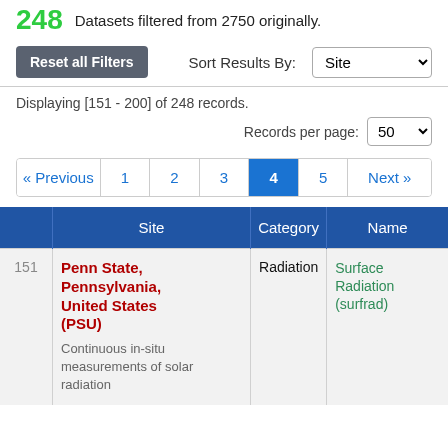248 Datasets filtered from 2750 originally.
Reset all Filters   Sort Results By: Site
Displaying [151 - 200] of 248 records.
Records per page: 50
« Previous  1  2  3  4  5  Next »
|  | Site | Category | Name |
| --- | --- | --- | --- |
| 151 | Penn State, Pennsylvania, United States (PSU)
Continuous in-situ measurements of solar radiation | Radiation | Surface Radiation (surfrad) |